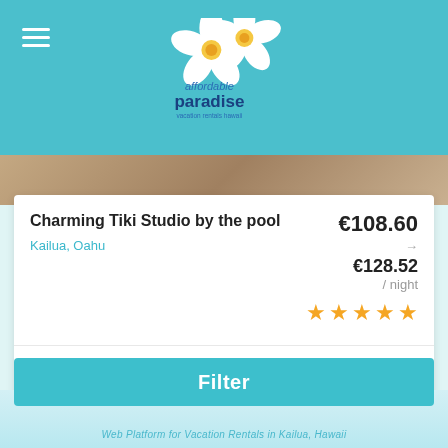affordable paradise vacation rentals hawaii
Charming Tiki Studio by the pool
Kailua, Oahu
€108.60
→
€128.52 / night
★★★★★
2 People  1 Bedroom  1 Bathroom
Filter
Web Platform for Vacation Rentals in Kailua, Hawaii